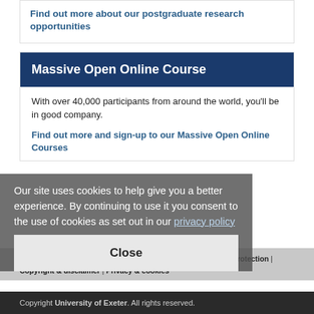Find out more about our postgraduate research opportunities
Massive Open Online Course
With over 40,000 participants from around the world, you'll be in good company.
Find out more and sign-up to our Massive Open Online Courses
Our site uses cookies to help give you a better experience. By continuing to use it you consent to the use of cookies as set out in our privacy policy
Close
Using our site | Accessibility | Freedom of Information | Data Protection | Copyright & disclaimer | Privacy & cookies
Copyright University of Exeter. All rights reserved.